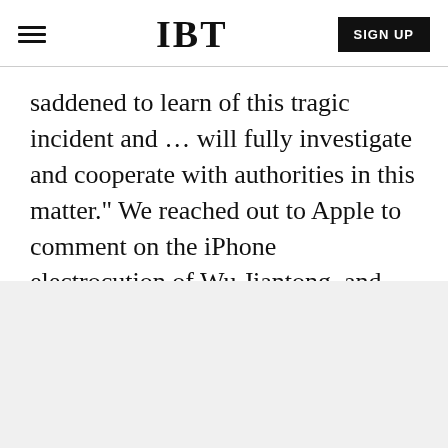IBT | SIGN UP
saddened to learn of this tragic incident and ... will fully investigate and cooperate with authorities in this matter.” We reached out to Apple to comment on the iPhone electrocution of Wu Jiantong, and we’ll update this story as soon as we receive a response.